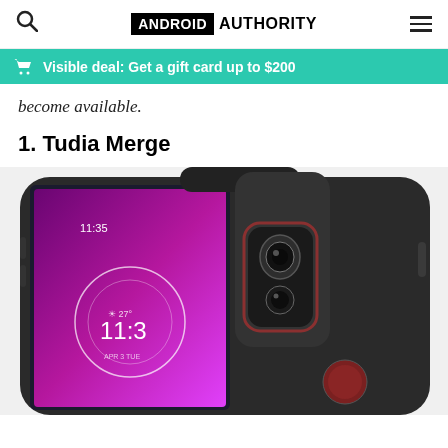ANDROID AUTHORITY
Visible deal: Get a gift card up to $200
become available.
1. Tudia Merge
[Figure (photo): A black Tudia Merge dual-layer protective phone case shown holding a smartphone with a purple/pink galaxy wallpaper displaying 11:35 time, with the dual-camera and fingerprint sensor visible on the back.]